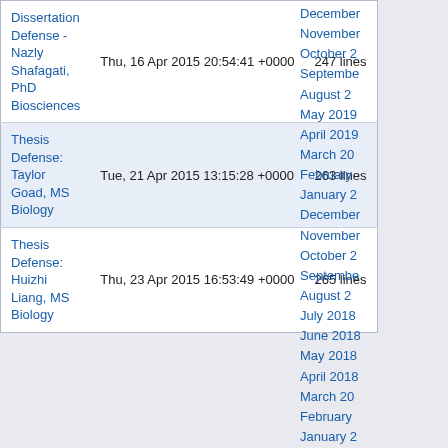| Title | Date | Lines |
| --- | --- | --- |
| Dissertation Defense - Nazly Shafagati, PhD Biosciences | Thu, 16 Apr 2015 20:54:41 +0000 | 247 lines |
| Thesis Defense: Taylor Goad, MS Biology | Tue, 21 Apr 2015 13:15:28 +0000 | 263 lines |
| Thesis Defense: Huizhi Liang, MS Biology | Thu, 23 Apr 2015 16:53:49 +0000 | 265 lines |
December
November
October 2
Septembe
August 2
May 2019
April 2019
March 20
February
January 2
December
November
October 2
Septembe
August 2
July 2018
June 2018
May 2018
April 2018
March 20
February
January 2
December
November
October 2
Septembe
August 2
July 2017
June 2017
May 2017
April 2017
March 20